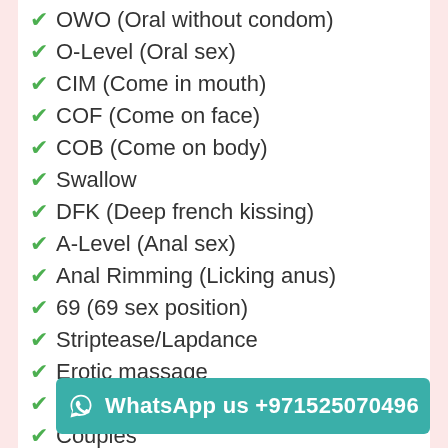OWO (Oral without condom)
O-Level (Oral sex)
CIM (Come in mouth)
COF (Come on face)
COB (Come on body)
Swallow
DFK (Deep french kissing)
A-Level (Anal sex)
Anal Rimming (Licking anus)
69 (69 sex position)
Striptease/Lapdance
Erotic massage
Golden shower
Couples
GFE (G...
Threesome
WhatsApp us +971525070496